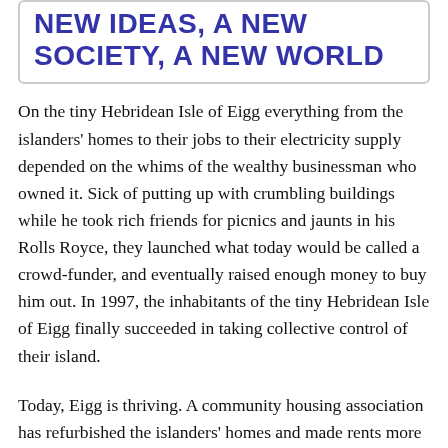NEW IDEAS, A NEW SOCIETY, A NEW WORLD
On the tiny Hebridean Isle of Eigg everything from the islanders' homes to their jobs to their electricity supply depended on the whims of the wealthy businessman who owned it. Sick of putting up with crumbling buildings while he took rich friends for picnics and jaunts in his Rolls Royce, they launched what today would be called a crowd-funder, and eventually raised enough money to buy him out. In 1997, the inhabitants of the tiny Hebridean Isle of Eigg finally succeeded in taking collective control of their island.
Today, Eigg is thriving. A community housing association has refurbished the islanders' homes and made rents more